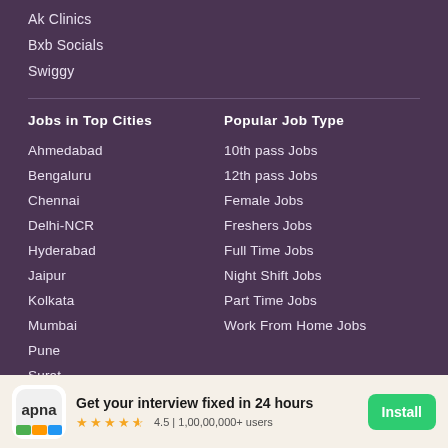Ak Clinics
Bxb Socials
Swiggy
Jobs in Top Cities
Popular Job Type
Ahmedabad
10th pass Jobs
Bengaluru
12th pass Jobs
Chennai
Female Jobs
Delhi-NCR
Freshers Jobs
Hyderabad
Full Time Jobs
Jaipur
Night Shift Jobs
Kolkata
Part Time Jobs
Mumbai
Work From Home Jobs
Pune
Surat
Get your interview fixed in 24 hours
4.5 | 1,00,00,000+ users
Install